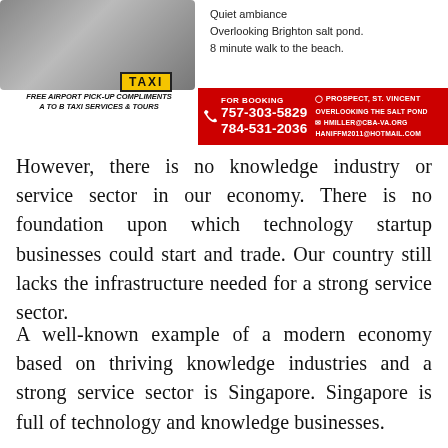[Figure (infographic): Advertisement banner with taxi van photo on left, text 'Quiet ambiance / Overlooking Brighton salt pond. / 8 minute walk to the beach.' on upper right, red booking bar with 'FOR BOOKING 757-303-5829 / 784-531-2036' and contact info including 'PROSPECT, ST. VINCENT / OVERLOOKING THE SALT POND / HMILLER@CBA-VA.ORG / HANIFFM2011@HOTMAIL.COM'. Free airport pick-up text at bottom left of ad.]
However, there is no knowledge industry or service sector in our economy. There is no foundation upon which technology startup businesses could start and trade. Our country still lacks the infrastructure needed for a strong service sector.
A well-known example of a modern economy based on thriving knowledge industries and a strong service sector is Singapore. Singapore is full of technology and knowledge businesses.